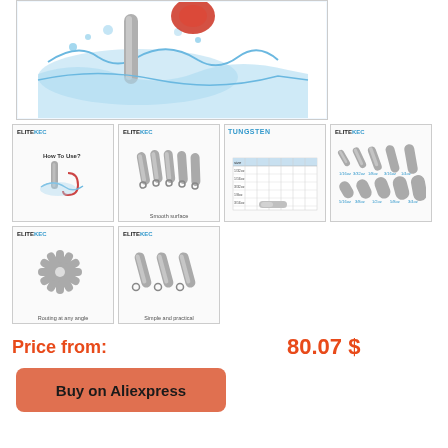[Figure (photo): Main product photo showing a fishing sinker/weight partially submerged in water with water splash effect, blue water and white splash background]
[Figure (photo): Thumbnail 1: EliteKec branded image showing how to use the fishing sinker with hook, text 'How To Use?']
[Figure (photo): Thumbnail 2: EliteKec branded image showing multiple fishing sinkers, caption 'Smooth surface']
[Figure (photo): Thumbnail 3: Tungsten weight specifications/size chart table]
[Figure (photo): Thumbnail 4: EliteKec branded image showing various sizes of fishing sinkers arranged in rows with weight labels]
[Figure (photo): Thumbnail 5: EliteKec branded image showing sinkers arranged in starburst/fan pattern, caption 'Routing at any angle']
[Figure (photo): Thumbnail 6: EliteKec branded image showing fishing sinkers side by side, caption 'Simple and practical']
Price from:   80.07 $
Buy on Aliexpress